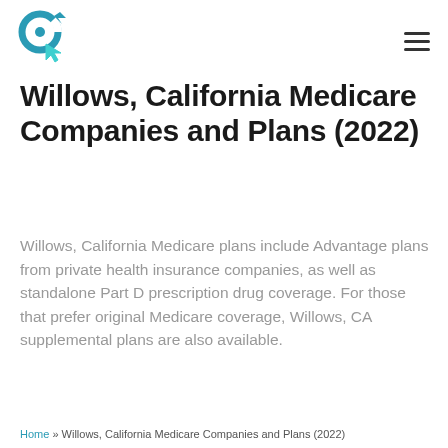[Logo: ClickMedicare] [Hamburger menu]
Willows, California Medicare Companies and Plans (2022)
Willows, California Medicare plans include Advantage plans from private health insurance companies, as well as standalone Part D prescription drug coverage. For those that prefer original Medicare coverage, Willows, CA supplemental plans are also available.
Home » Willows, California Medicare Companies and Plans (2022)